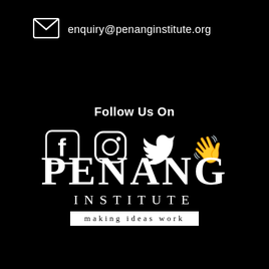enquiry@penanginstitute.org
Follow Us On
[Figure (logo): Social media icons: Facebook, Instagram, Twitter, Clubhouse]
[Figure (logo): Penang Institute logo with tagline 'making ideas work']